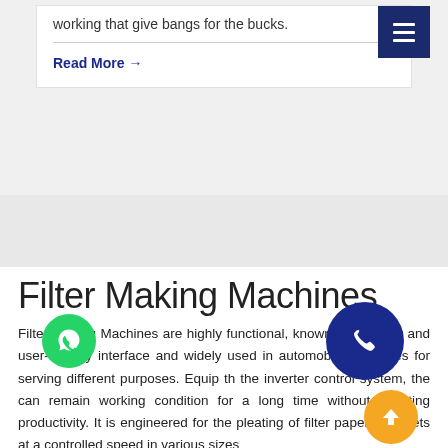working that give bangs for the bucks.
Read More →
Filter Making Machines
Filter Making Machines are highly functional, known for its easy and user-friendly interface and widely used in automobile industries for serving different purposes. Equipped with the inverter control system, the machines can remain in working condition for a long time without affecting productivity. It is engineered for the pleating of filter paper or sheets at a controlled speed in various sizes